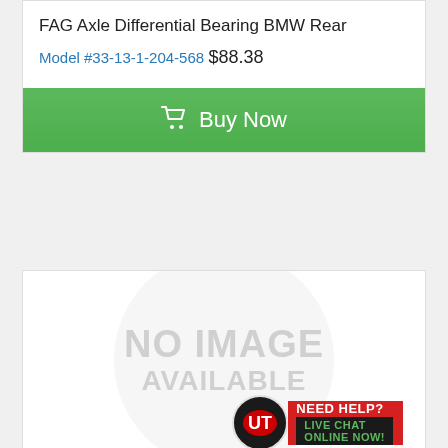FAG Axle Differential Bearing BMW Rear
Model #33-13-1-204-568
$88.38
[Figure (other): Green Buy Now button with shopping cart icon]
[Figure (other): Product image placeholder showing NO IMAGE AVAILABLE text with circular watermark and a Need Help? Live Chat Online Now! banner in the bottom right corner]